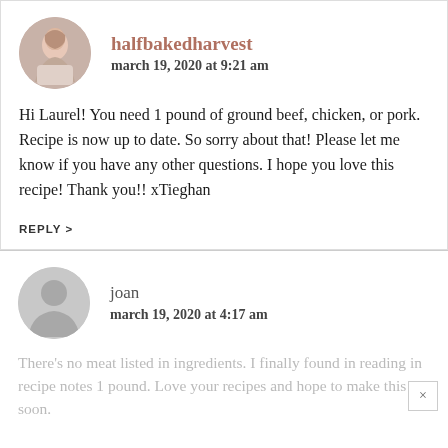[Figure (photo): Circular avatar photo of halfbakedharvest blogger]
halfbakedharvest
march 19, 2020 at 9:21 am
Hi Laurel! You need 1 pound of ground beef, chicken, or pork. Recipe is now up to date. So sorry about that! Please let me know if you have any other questions. I hope you love this recipe! Thank you!! xTieghan
REPLY >
[Figure (illustration): Generic circular avatar placeholder for user joan]
joan
march 19, 2020 at 4:17 am
There's no meat listed in ingredients. I finally found in reading in recipe notes 1 pound. Love your recipes and hope to make this soon.